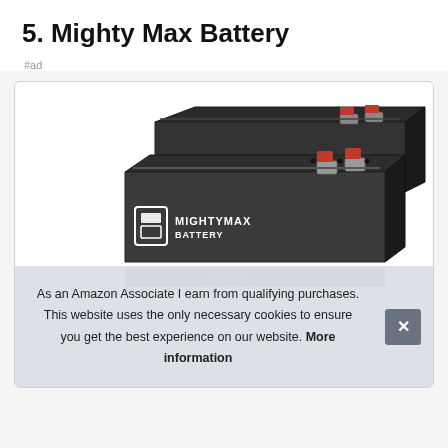5. Mighty Max Battery
#ad
[Figure (photo): Two black Mighty Max Battery sealed lead-acid batteries stacked, showing the brand logo on the side and red/grey terminals on top-right corner.]
As an Amazon Associate I earn from qualifying purchases. This website uses the only necessary cookies to ensure you get the best experience on our website. More information